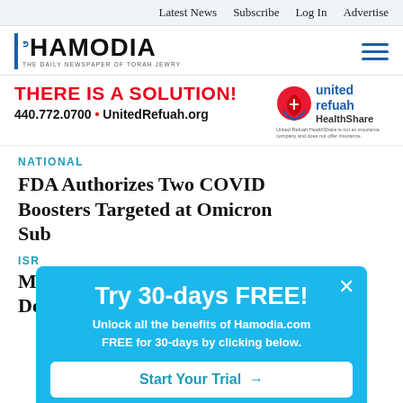Latest News   Subscribe   Log In   Advertise
[Figure (logo): Hamodia newspaper logo with Hebrew text and tagline 'THE DAILY NEWSPAPER OF TORAH JEWRY']
[Figure (logo): United Refuah HealthShare logo with red and blue graphic]
[Figure (infographic): Advertisement banner: THERE IS A SOLUTION! 440.772.0700 • UnitedRefuah.org. United Refuah HealthShare is not an insurance company and does not offer insurance.]
NATIONAL
FDA Authorizes Two COVID Boosters Targeted at Omicron Sub...
ISR...
Mu... De...
[Figure (screenshot): Popup modal overlay: Try 30-days FREE! Unlock all the benefits of Hamodia.com FREE for 30-days by clicking below. Button: Start Your Trial →]